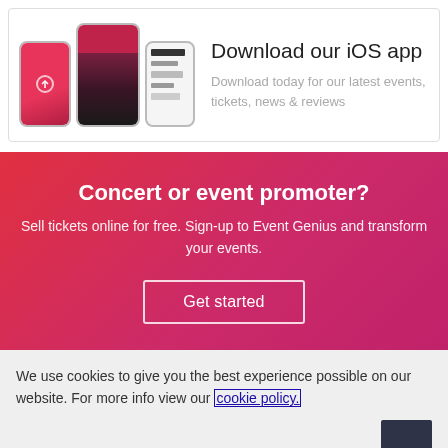[Figure (screenshot): Three iPhone mockups showing the iOS app: a pink branded screen, an event photo screen, and a list/content screen]
Download our iOS app
Download today for our latest events, tickets, news & reviews
Concert or event promoter?
Sell tickets online for free. Sign-up to Event Genius and transform your events.
Get started
We use cookies to give you the best experience possible on our website. For more info view our cookie policy.